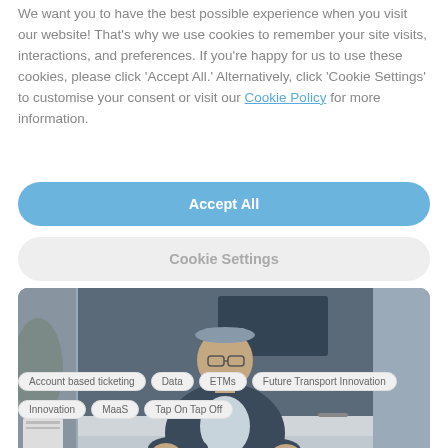We want you to have the best possible experience when you visit our website! That's why we use cookies to remember your site visits, interactions, and preferences. If you're happy for us to use these cookies, please click 'Accept All.' Alternatively, click 'Cookie Settings' to customise your consent or visit our Cookie Policy for more information.
Accept All
Cookie Settings
[Figure (photo): A man in a blazer smiling at a reception or counter, with a room visible behind him.]
Account based ticketing
Data
ETMs
Future Transport Innovation
Innovation
MaaS
Tap On Tap Off